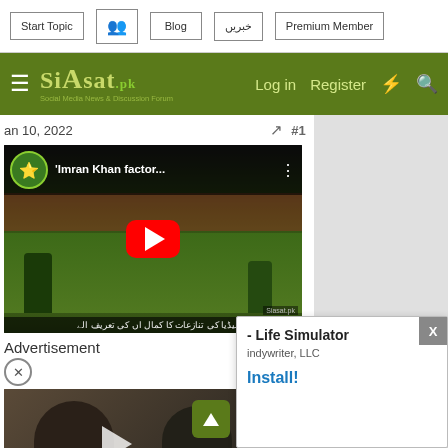Start Topic | Blog | خبریں | Premium Member
Siasat.pk — Log in | Register
Jan 10, 2022  #1
[Figure (screenshot): YouTube video thumbnail titled 'Imran Khan factor...' showing cricket players on green field with red YouTube play button]
Advertisement
[Figure (screenshot): Video ad thumbnail showing Pakistan's Prime Minister Imran Khan with caption about urging Facebook's Mark Zuckerberg to ban Islamophobic content]
[Figure (screenshot): App advertisement popup for 'Life Simulator' by Indywriter, LLC with Install button]